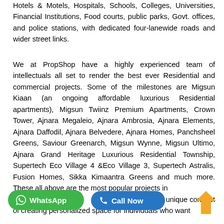Hotels & Motels, Hospitals, Schools, Colleges, Universities, Financial Institutions, Food courts, public parks, Govt. offices, and police stations, with dedicated four-lanewide roads and wider street links.
We at PropShop have a highly experienced team of intellectuals all set to render the best ever Residential and commercial projects. Some of the milestones are Migsun Kiaan (an ongoing affordable luxurious Residential apartments), Migsun Twiinz Premium Apartments, Crown Tower, Ajnara Megaleio, Ajnara Ambrosia, Ajnara Elements, Ajnara Daffodil, Ajnara Belvedere, Ajnara Homes, Panchsheel Greens, Saviour Greenarch, Migsun Wynne, Migsun Ultimo, Ajnara Grand Heritage Luxurious Residential Township, Supertech Eco Village 4 &Eco Village 3, Supertech Astralis, Fusion Homes, Sikka Kimaantra Greens and much more. These all above are the most popular projects in fantastic location and unique concept of creating personalized space for individuals who want